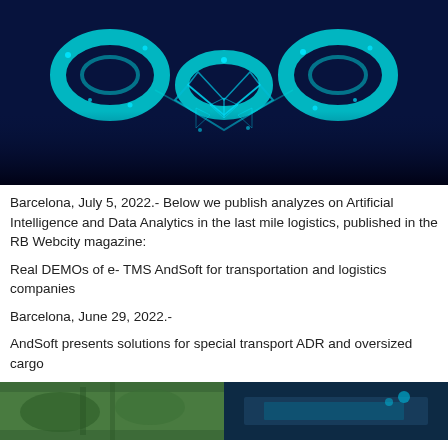[Figure (illustration): Digital blockchain handshake illustration on dark navy blue background with glowing cyan chain links and a geometric wireframe handshake in the center]
Barcelona, July 5, 2022.- Below we publish analyzes on Artificial Intelligence and Data Analytics in the last mile logistics, published in the RB Webcity magazine:
Real DEMOs of e- TMS AndSoft for transportation and logistics companies
Barcelona, June 29, 2022.-
AndSoft presents solutions for special transport ADR and oversized cargo
[Figure (photo): Split image showing two photos side by side: left shows greenery/plants, right shows a blue-lit display or screen environment]